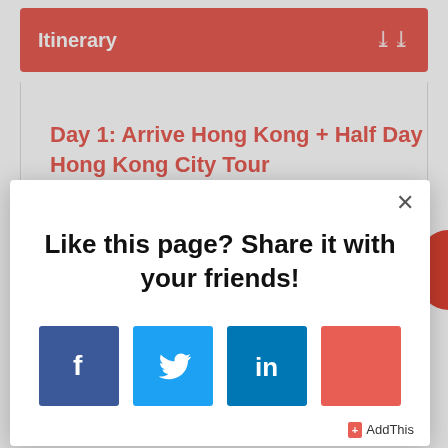Itinerary
Day 1: Arrive Hong Kong + Half Day Hong Kong City Tour
Like this page? Share it with your friends!
[Figure (infographic): Social share modal with Facebook, Twitter, LinkedIn, and a red share button icons, plus AddThis branding]